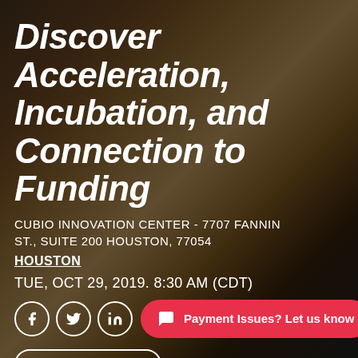Discover Acceleration, Incubation, and Connection to Funding
CUBIO INNOVATION CENTER - 7707 FANNIN ST., SUITE 200 HOUSTON, 77054
HOUSTON
TUE, OCT 29, 2019. 8:30 AM (CDT)
Payment Issues? Let us know
IN-PERSON EVENT